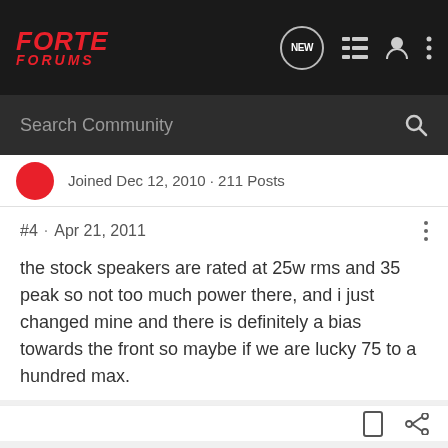FORTE FORUMS
Search Community
Joined Dec 12, 2010 · 211 Posts
#4 · Apr 21, 2011
the stock speakers are rated at 25w rms and 35 peak so not too much power there, and i just changed mine and there is definitely a bias towards the front so maybe if we are lucky 75 to a hundred max.